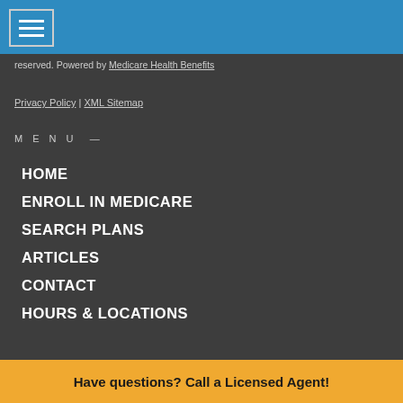Navigation header with hamburger menu
reserved. Powered by Medicare Health Benefits
Privacy Policy | XML Sitemap
MENU —
HOME
ENROLL IN MEDICARE
SEARCH PLANS
ARTICLES
CONTACT
HOURS & LOCATIONS
Have questions? Call a Licensed Agent!